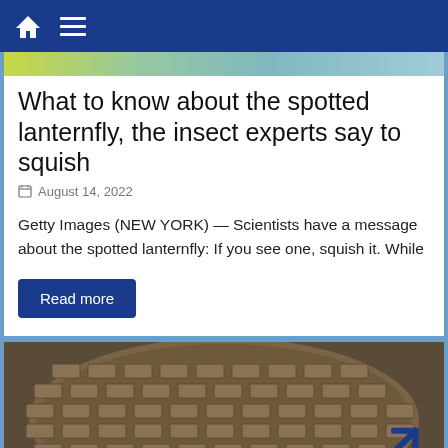Home / Menu navigation bar
[Figure (photo): Top partial image of spotted lanternfly or foliage in green and yellow tones]
What to know about the spotted lanternfly, the insect experts say to squish
August 14, 2022
Getty Images (NEW YORK) — Scientists have a message about the spotted lanternfly: If you see one, squish it. While
Read more
[Figure (photo): Close-up photo of a metal manhole cover with rectangular grid pattern, rusty and aged]